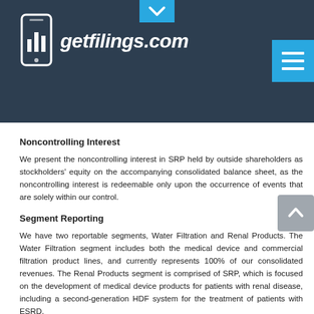getfilings.com
Noncontrolling Interest
We present the noncontrolling interest in SRP held by outside shareholders as stockholders' equity on the accompanying consolidated balance sheet, as the noncontrolling interest is redeemable only upon the occurrence of events that are solely within our control.
Segment Reporting
We have two reportable segments, Water Filtration and Renal Products. The Water Filtration segment includes both the medical device and commercial filtration product lines, and currently represents 100% of our consolidated revenues. The Renal Products segment is comprised of SRP, which is focused on the development of medical device products for patients with renal disease, including a second-generation HDF system for the treatment of patients with ESRD.
Our chief operating decision maker evaluates the financial performance of our segments based on revenues, gross margin (where applicable), research and development expenses (R&D), and other general and administrative